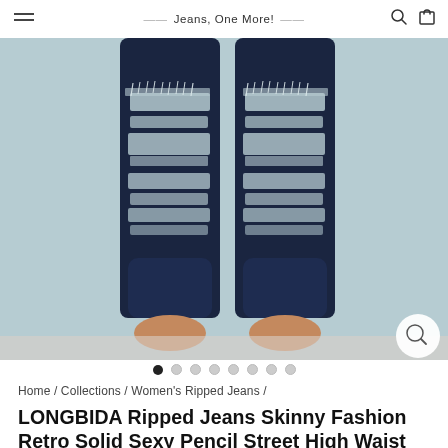Jeans, One More!
[Figure (photo): Close-up photo of a person wearing heavily ripped dark navy skinny jeans, showing distressed knees and shins against a light blue-grey brick wall background.]
Home / Collections / Women's Ripped Jeans /
LONGBIDA Ripped Jeans Skinny Fashion Retro Solid Sexy Pencil Street High Waist For Women